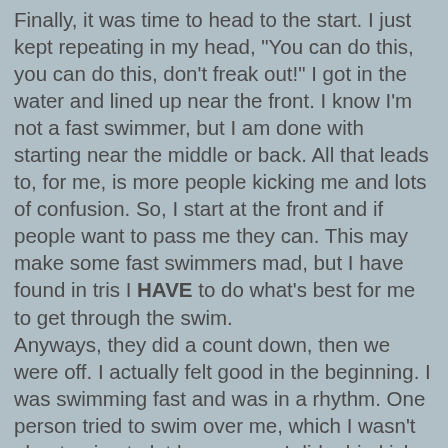Finally, it was time to head to the start. I just kept repeating in my head, "You can do this, you can do this, don't freak out!" I got in the water and lined up near the front. I know I'm not a fast swimmer, but I am done with starting near the middle or back. All that leads to, for me, is more people kicking me and lots of confusion. So, I start at the front and if people want to pass me they can. This may make some fast swimmers mad, but I have found in tris I HAVE to do what's best for me to get through the swim. Anyways, they did a count down, then we were off. I actually felt good in the beginning. I was swimming fast and was in a rhythm. One person tried to swim over me, which I wasn't about going to let happen, so I did a big kick to get them off. It worked. I continued to the first buoy and still felt pretty good, but I kept running into people and people kept running into me. I could not for the life of me find a clear path to swim. A couple of times I had to stop and side stroke to find a path of my own. I was breathing so hard and my heart rate was sky rocketing. Finally I saw the finish arch and soon was at the finish! I got to the sand and heard my family cheering! It was great. I was having a hard time catching my breath and had to walk part way up the LONG path from